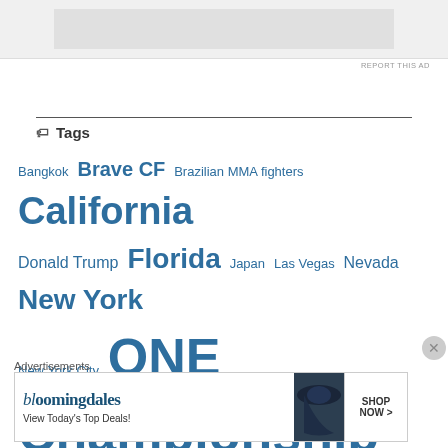[Figure (other): Top advertisement banner placeholder (gray rectangle)]
Tags
Bangkok Brave CF Brazilian MMA fighters California Donald Trump Florida Japan Las Vegas Nevada New York New York City ONE Championship ONE Super Series Philippines Team Lakay Texas Thailand Tokyo US Capitol Brave Combat Federation
[Figure (other): Bloomingdales advertisement banner: logo, 'View Today's Top Deals!', shop now button]
Advertisements